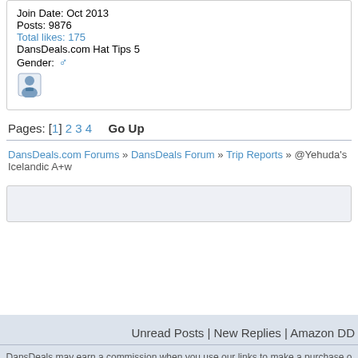Join Date: Oct 2013
Posts: 9876
Total likes: 175
DansDeals.com Hat Tips 5
Gender: ♂
Pages: [1] 2 3 4   Go Up
DansDeals.com Forums » DansDeals Forum » Trip Reports » @Yehuda's Icelandic A+w
Unread Posts | New Replies | Amazon DD
DansDeals may earn a commission when you use our links to make a purchase o
SMF 2.0.14 | SMF © 2017, Simple Machines | Mo
XHTML   RSS   WAP2